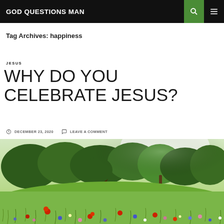GOD QUESTIONS MAN
Tag Archives: happiness
JESUS
WHY DO YOU CELEBRATE JESUS?
DECEMBER 23, 2020   LEAVE A COMMENT
[Figure (photo): A sunlit meadow with wildflowers including red poppies and blue flowers in the foreground, green trees in the background]